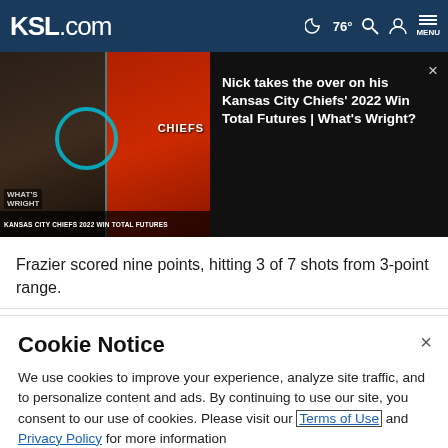KSL.com  76°  MENU
[Figure (screenshot): Video thumbnail showing two people - a man with a beard at a microphone on the left and a Kansas City Chiefs player in red on the right, with a teal circle overlay. Text overlay reads: WHAT'S WRIGHT - KANSAS CITY CHIEFS 2022 WIN TOTAL FUTURES]
Nick takes the over on his Kansas City Chiefs' 2022 Win Total Futures | What's Wright?
Frazier scored nine points, hitting 3 of 7 shots from 3-point range.
Cookie Notice
We use cookies to improve your experience, analyze site traffic, and to personalize content and ads. By continuing to use our site, you consent to our use of cookies. Please visit our Terms of Use and  Privacy Policy for more information